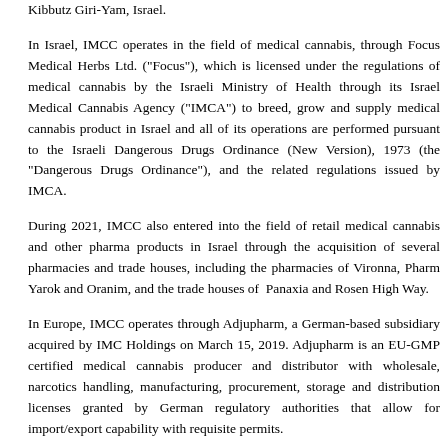Kibbutz Giri-Yam, Israel.
In Israel, IMCC operates in the field of medical cannabis, through Focus Medical Herbs Ltd. ("Focus"), which is licensed under the regulations of medical cannabis by the Israeli Ministry of Health through its Israel Medical Cannabis Agency ("IMCA") to breed, grow and supply medical cannabis product in Israel and all of its operations are performed pursuant to the Israeli Dangerous Drugs Ordinance (New Version), 1973 (the "Dangerous Drugs Ordinance"), and the related regulations issued by IMCA.
During 2021, IMCC also entered into the field of retail medical cannabis and other pharma products in Israel through the acquisition of several pharmacies and trade houses, including the pharmacies of Vironna, Pharm Yarok and Oranim, and the trade houses of Panaxia and Rosen High Way.
In Europe, IMCC operates through Adjupharm, a German-based subsidiary acquired by IMC Holdings on March 15, 2019. Adjupharm is an EU-GMP certified medical cannabis producer and distributor with wholesale, narcotics handling, manufacturing, procurement, storage and distribution licenses granted by German regulatory authorities that allow for import/export capability with requisite permits.